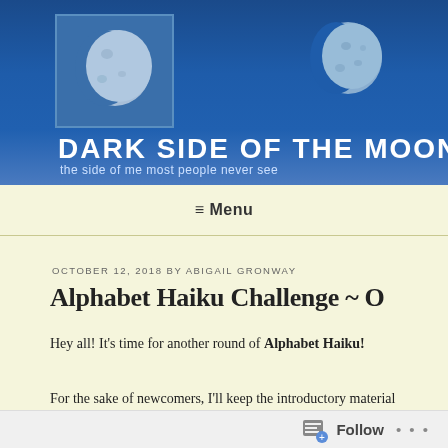[Figure (photo): Blog header banner with dark blue sky background, two moon images, blog title 'DARK SIDE OF THE MOON', and subtitle 'the side of me most people never see']
≡ Menu
OCTOBER 12, 2018 BY ABIGAIL GRONWAY
Alphabet Haiku Challenge ~ O
Hey all! It's time for another round of Alphabet Haiku!
For the sake of newcomers, I'll keep the introductory material
Follow ...